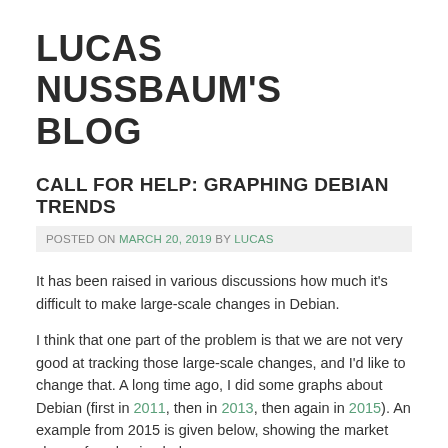LUCAS NUSSBAUM'S BLOG
CALL FOR HELP: GRAPHING DEBIAN TRENDS
POSTED ON MARCH 20, 2019 BY LUCAS
It has been raised in various discussions how much it's difficult to make large-scale changes in Debian.
I think that one part of the problem is that we are not very good at tracking those large-scale changes, and I'd like to change that. A long time ago, I did some graphs about Debian (first in 2011, then in 2013, then again in 2015). An example from 2015 is given below, showing the market share of packaging helpers.